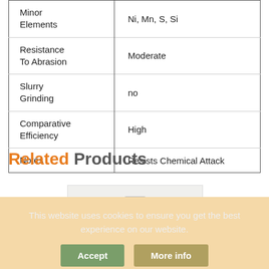| Property | Value |
| --- | --- |
| Minor Elements | Ni, Mn, S, Si |
| Resistance To Abrasion | Moderate |
| Slurry Grinding | no |
| Comparative Efficiency | High |
| Notes | Resists Chemical Attack |
Related Products
[Figure (photo): Product image of a jar/container]
This website uses cookies to ensure you get the best experience on our website.